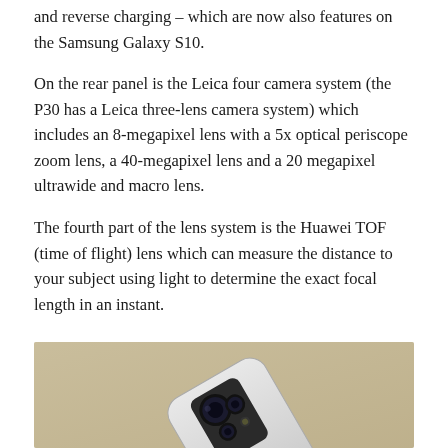and reverse charging – which are now also features on the Samsung Galaxy S10.
On the rear panel is the Leica four camera system (the P30 has a Leica three-lens camera system) which includes an 8-megapixel lens with a 5x optical periscope zoom lens, a 40-megapixel lens and a 20 megapixel ultrawide and macro lens.
The fourth part of the lens system is the Huawei TOF (time of flight) lens which can measure the distance to your subject using light to determine the exact focal length in an instant.
[Figure (photo): Photo of the back of a Huawei P30 Pro smartphone showing the Leica quad camera module, on a tan/beige background.]